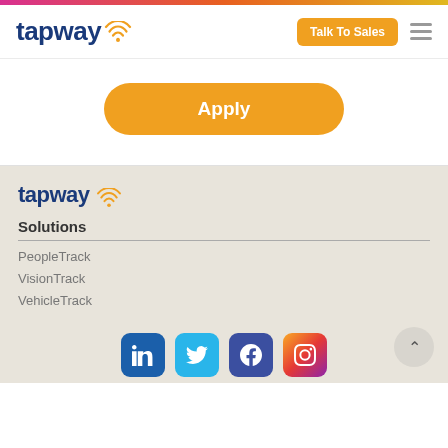[Figure (logo): Tapway logo with wifi icon in navigation header, with Talk To Sales button and hamburger menu]
[Figure (screenshot): Orange Apply button with rounded pill shape on white background]
[Figure (logo): Tapway logo in footer area on beige/tan background]
Solutions
PeopleTrack
VisionTrack
VehicleTrack
[Figure (infographic): Social media icons row: LinkedIn, Twitter, Facebook, Instagram]